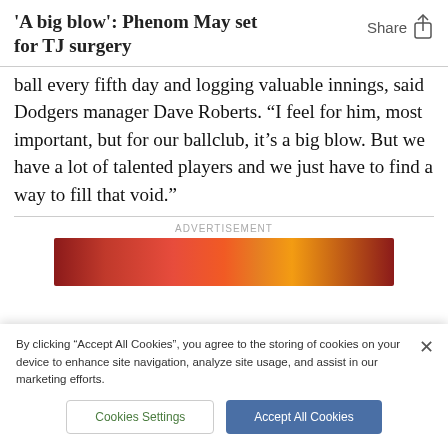'A big blow': Phenom May set for TJ surgery
ball every fifth day and logging valuable innings, said Dodgers manager Dave Roberts. “I feel for him, most important, but for our ballclub, it’s a big blow. But we have a lot of talented players and we just have to find a way to fill that void.”
[Figure (other): Advertisement banner with red and orange gradient colors]
By clicking “Accept All Cookies”, you agree to the storing of cookies on your device to enhance site navigation, analyze site usage, and assist in our marketing efforts.